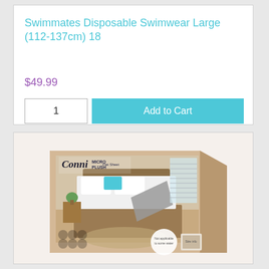Swimmates Disposable Swimwear Large (112-137cm) 18
$49.99
[Figure (photo): Product packaging photo showing a Conni Micro Plush Flat Sheet box with a bedroom bed image on the packaging.]